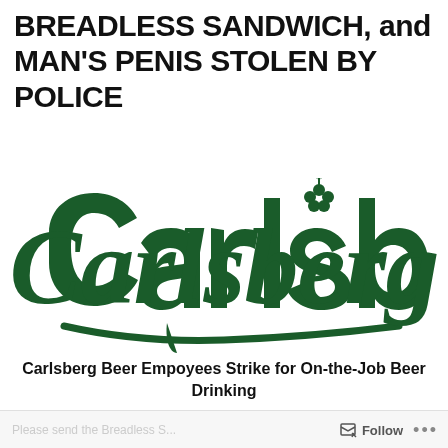BREADLESS SANDWICH, and MAN'S PENIS STOLEN BY POLICE
[Figure (logo): Carlsberg beer brand logo in dark green on white background]
Carlsberg Beer Empoyees Strike for On-the-Job Beer Drinking
Follow